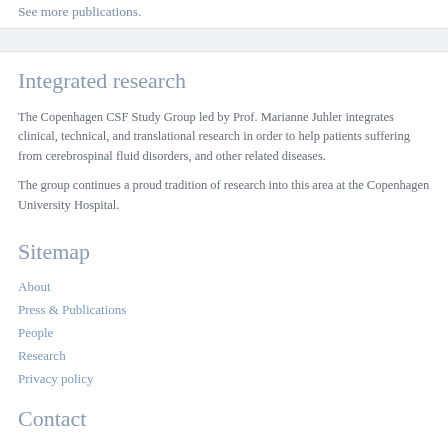See more publications.
Integrated research
The Copenhagen CSF Study Group led by Prof. Marianne Juhler integrates clinical, technical, and translational research in order to help patients suffering from cerebrospinal fluid disorders, and other related diseases.
The group continues a proud tradition of research into this area at the Copenhagen University Hospital.
Sitemap
About
Press & Publications
People
Research
Privacy policy
Contact